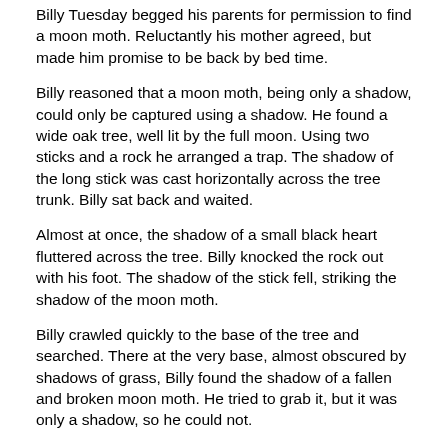Billy Tuesday begged his parents for permission to find a moon moth. Reluctantly his mother agreed, but made him promise to be back by bed time.
Billy reasoned that a moon moth, being only a shadow, could only be captured using a shadow. He found a wide oak tree, well lit by the full moon. Using two sticks and a rock he arranged a trap. The shadow of the long stick was cast horizontally across the tree trunk. Billy sat back and waited.
Almost at once, the shadow of a small black heart fluttered across the tree. Billy knocked the rock out with his foot. The shadow of the stick fell, striking the shadow of the moon moth.
Billy crawled quickly to the base of the tree and searched. There at the very base, almost obscured by shadows of grass, Billy found the shadow of a fallen and broken moon moth. He tried to grab it, but it was only a shadow, so he could not.
Billy stuck a twig in the ground at that point so he could find it again. Then he ran home.
The next morning he announced his success. "But